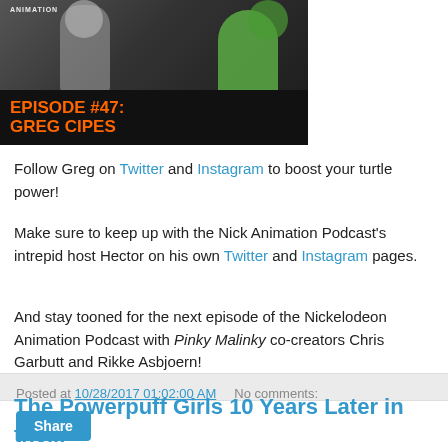[Figure (photo): Podcast episode image showing Episode #47: Greg Cipes with orange text on dark background]
Follow Greg on Twitter and Instagram to boost your turtle power!
Make sure to keep up with the Nick Animation Podcast's intrepid host Hector on his own Twitter and Instagram pages.
And stay tooned for the next episode of the Nickelodeon Animation Podcast with Pinky Malinky co-creators Chris Garbutt and Rikke Asbjoern!
Posted at 10/28/2017 01:02:00 AM   No comments:
Share
The Powerpuff Girls 10 Years Later in the...